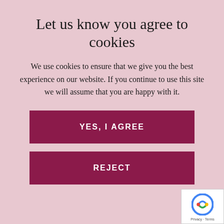Let us know you agree to cookies
We use cookies to ensure that we give you the best experience on our website. If you continue to use this site we will assume that you are happy with it.
YES, I AGREE
REJECT
detailed advice and support to help guide applicants through this process to obtain a certified health clearance. Our clients value this personal approach, through a system that may seem confusing especially if they are from another country. Our Health Clearance Service is fully compliant with Department of Health